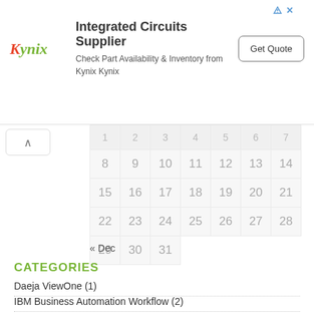[Figure (infographic): Kynix advertisement banner: Integrated Circuits Supplier. Logo shows 'Kynix' in red/green italic text. Text reads 'Check Part Availability & Inventory from Kynix Kynix'. Button says 'Get Quote'.]
[Figure (infographic): Calendar widget showing days 8-31 of a month in a 7-column grid. Days shown: 8,9,10,11,12,13,14 / 15,16,17,18,19,20,21 / 22,23,24,25,26,27,28 / 29,30,31. Previous month link: « Dec]
« Dec
CATEGORIES
Daeja ViewOne (1)
IBM Business Automation Workflow (2)